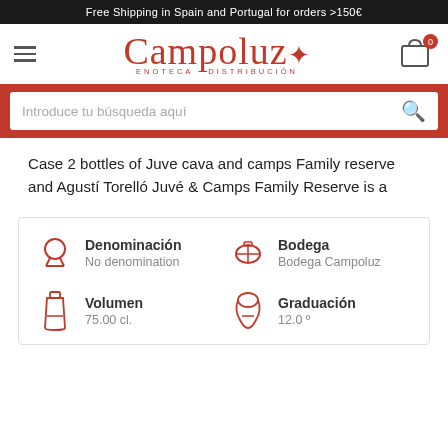Free Shipping in Spain and Portugal for orders >150€
[Figure (logo): Campoluz Enoteca - Distribución logo with hamburger menu and cart icon showing 0 items]
[Figure (screenshot): Search bar with placeholder text 'Introduce tu búsqueda aquí' and red search icon, on red background]
Case 2 bottles of Juve cava and camps Family reserve and Agustí Torelló Juvé & Camps Family Reserve is a
| Category | Value |
| --- | --- |
| Denominación | No denomination |
| Bodega | Bodega Campoluz |
| Volumen | 75.00 cl. |
| Graduación | 12.0 º |